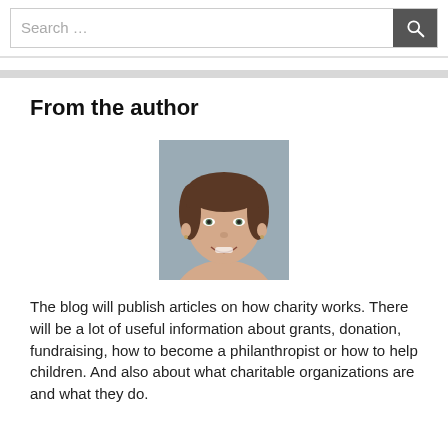Search ...
From the author
[Figure (photo): Headshot photo of a smiling young woman with brown hair and bangs, against a gray background.]
The blog will publish articles on how charity works. There will be a lot of useful information about grants, donation, fundraising, how to become a philanthropist or how to help children. And also about what charitable organizations are and what they do.